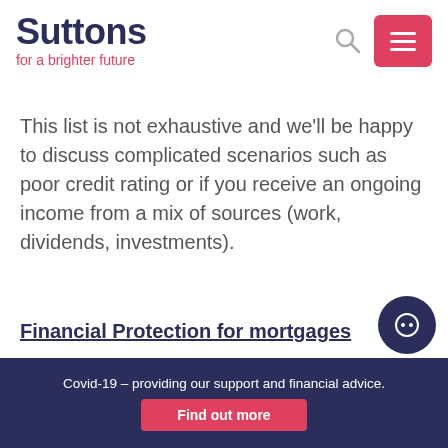[Figure (logo): Suttons logo with tagline 'for a brighter future', navy blue header area with search icon and red hamburger menu button]
This list is not exhaustive and we'll be happy to discuss complicated scenarios such as poor credit rating or if you receive an ongoing income from a mix of sources (work, dividends, investments).
Financial Protection for mortgages
Covid-19 – providing our support and financial advice. Find out more